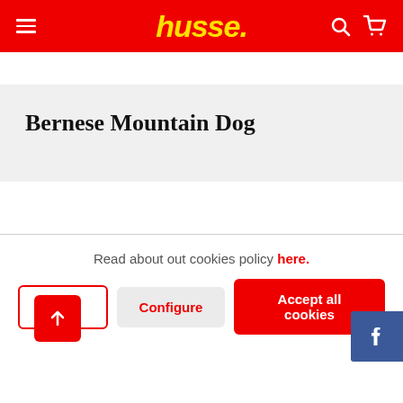husse.
Bernese Mountain Dog
Read about out cookies policy here.
Deny
Configure
Accept all cookies